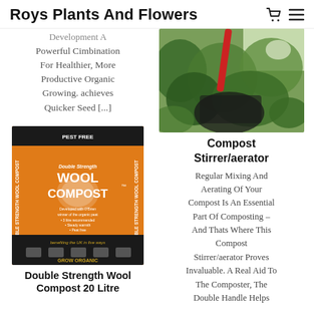Roys Plants And Flowers
Development A Powerful Cimbination For Healthier, More Productive Organic Growing. achieves Quicker Seed [...]
[Figure (photo): Outdoor garden scene with red tool handle and green foliage]
Compost Stirrer/aerator
Regular Mixing And Aerating Of Your Compost Is An Essential Part Of Composting – And Thats Where This Compost Stirrer/aerator Proves Invaluable. A Real Aid To The Composter, The Double Handle Helps
[Figure (photo): Double Strength Wool Compost bag - orange packaging, pest free, grow organic]
Double Strength Wool Compost 20 Litre